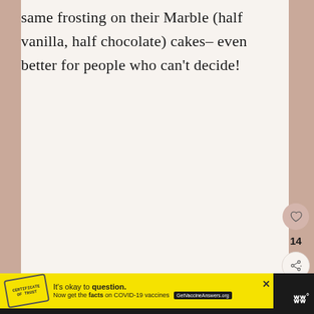same frosting on their Marble (half vanilla, half chocolate) cakes– even better for people who can't decide!
[Figure (screenshot): UI side action buttons: heart/like button (circle, mauve color), count label '14', share button (circle, light color with share icon)]
[Figure (screenshot): Advertisement banner at bottom: yellow background with stamp graphic, text 'It's okay to question. Now get the facts on COVID-19 vaccines GetVaccineAnswers.org', close X button. Black navigation bar with WW logo.]